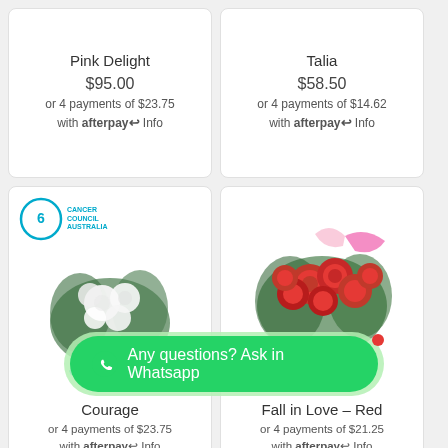Pink Delight
$95.00
or 4 payments of $23.75 with afterpay Info
Talia
$58.50
or 4 payments of $14.62 with afterpay Info
[Figure (photo): White flower bouquet with teal ribbon and Cancer Council Australia logo]
Courage
or 4 payments of $23.75 with afterpay Info
[Figure (photo): Red roses bouquet with pink ribbon]
Fall in Love – Red
or 4 payments of $21.25 with afterpay Info
Any questions? Ask in Whatsapp